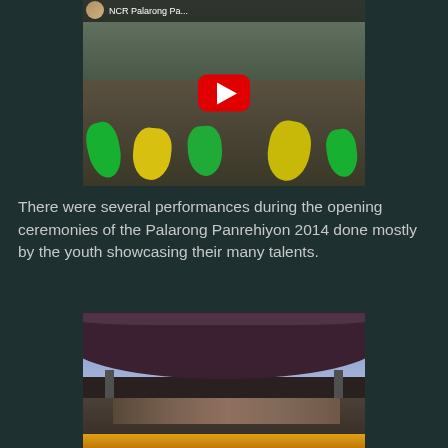[Figure (screenshot): YouTube video thumbnail showing dancers in colorful green and yellow dresses performing at what appears to be an outdoor plaza with a building in the background. Title bar reads 'NCR Palarong Pa...' with a red YouTube play button overlay.]
There were several performances during the opening ceremonies of the Palarong Panrehiyon 2014 done mostly by the youth showcasing their many talents.
[Figure (photo): Photo of a stage with a large curved roof/canopy. People are gathered on stage, appearing to be at an outdoor event. An orange podium/lectern is visible on the stage.]